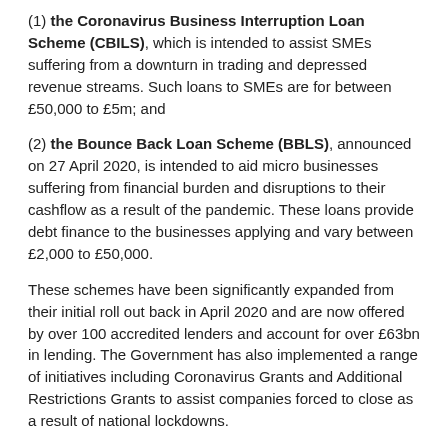(1) the Coronavirus Business Interruption Loan Scheme (CBILS), which is intended to assist SMEs suffering from a downturn in trading and depressed revenue streams. Such loans to SMEs are for between £50,000 to £5m; and
(2) the Bounce Back Loan Scheme (BBLS), announced on 27 April 2020, is intended to aid micro businesses suffering from financial burden and disruptions to their cashflow as a result of the pandemic. These loans provide debt finance to the businesses applying and vary between £2,000 to £50,000.
These schemes have been significantly expanded from their initial roll out back in April 2020 and are now offered by over 100 accredited lenders and account for over £63bn in lending. The Government has also implemented a range of initiatives including Coronavirus Grants and Additional Restrictions Grants to assist companies forced to close as a result of national lockdowns.
With regards to CBILS and BBLS, the Government will now